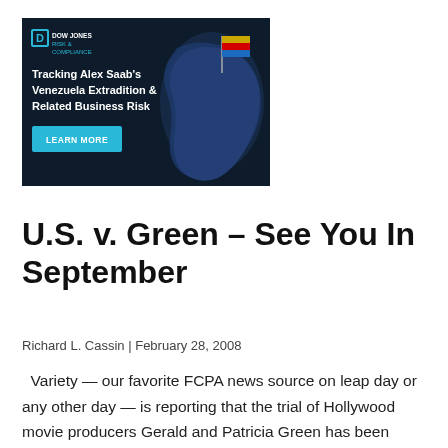[Figure (illustration): Dow Jones Risk & Compliance advertisement banner with dark navy background, logo, text about tracking Alex Saab's Venezuela Extradition & Related Business Risk, and a LEARN MORE button. A map of South America with a Venezuelan flag is visible on the right side.]
U.S. v. Green – See You In September
Richard L. Cassin | February 28, 2008
Variety — our favorite FCPA news source on leap day or any other day — is reporting that the trial of Hollywood movie producers Gerald and Patricia Green has been postponed to September 2008… Continue